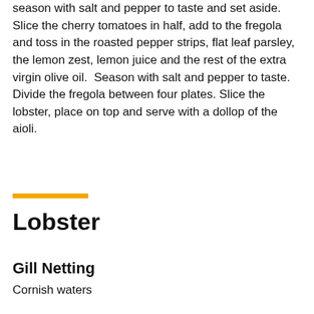season with salt and pepper to taste and set aside. Slice the cherry tomatoes in half, add to the fregola and toss in the roasted pepper strips, flat leaf parsley, the lemon zest, lemon juice and the rest of the extra virgin olive oil.  Season with salt and pepper to taste. Divide the fregola between four plates. Slice the lobster, place on top and serve with a dollop of the aioli.
Lobster
Gill Netting
Cornish waters